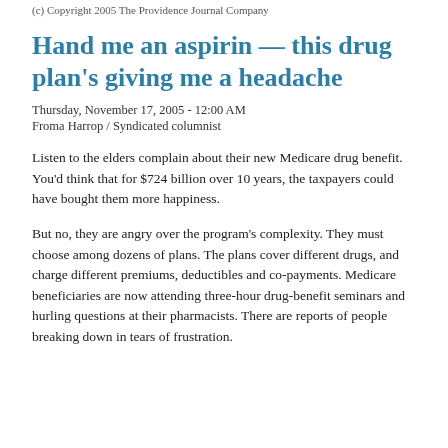(c) Copyright 2005 The Providence Journal Company
Hand me an aspirin — this drug plan's giving me a headache
Thursday, November 17, 2005 - 12:00 AM
Froma Harrop / Syndicated columnist
Listen to the elders complain about their new Medicare drug benefit. You'd think that for $724 billion over 10 years, the taxpayers could have bought them more happiness.
But no, they are angry over the program's complexity. They must choose among dozens of plans. The plans cover different drugs, and charge different premiums, deductibles and co-payments. Medicare beneficiaries are now attending three-hour drug-benefit seminars and hurling questions at their pharmacists. There are reports of people breaking down in tears of frustration.